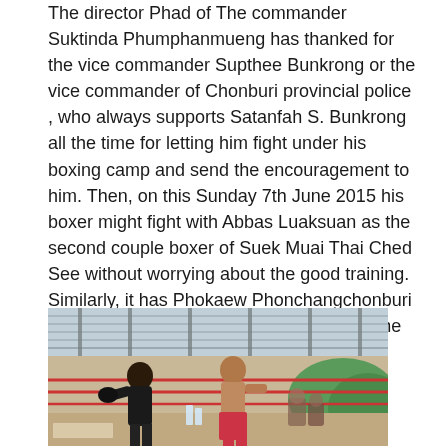The director Phad of The commander Suktinda Phumphanmueng has thanked for the vice commander Supthee Bunkrong or the vice commander of Chonburi provincial police , who always supports Satanfah S. Bunkrong all the time for letting him fight under his boxing camp and send the encouragement to him. Then, on this Sunday 7th June 2015 his boxer might fight with Abbas Luaksuan as the second couple boxer of Suek Muai Thai Ched See without worrying about the good training. Similarly, it has Phokaew Phonchangchonburi and Phalaphon Phumphanmueung to be the trainers of him also.
[Figure (photo): Two boxers sparring in a Muay Thai boxing ring inside an open-air gym with a metal roof. One boxer is dark-skinned wearing dark clothing, the other is shirtless wearing red shorts. Spectators visible in background, green foliage outside.]